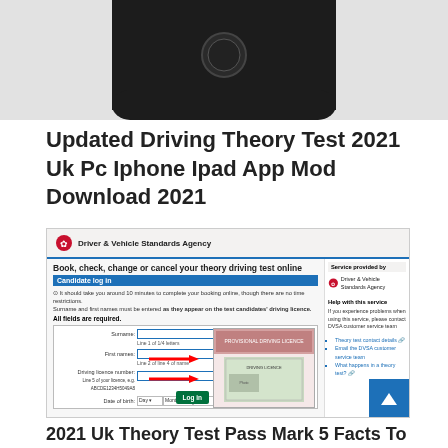[Figure (screenshot): Bottom portion of a smartphone (iPhone) showing the home button area, against a light grey background]
Updated Driving Theory Test 2021 Uk Pc Iphone Ipad App Mod Download 2021
[Figure (screenshot): Screenshot of the DVSA (Driver & Vehicle Standards Agency) website showing the 'Book, check, change or cancel your theory driving test online' page with a candidate log in form including fields for Surname, First names, Driving licence number, and Date of birth. A driving licence image with red arrows pointing to relevant fields is shown. A sidebar shows 'Service provided by' DVSA and 'Help with this service' links. A green 'Log in' button is visible at the bottom.]
2021 Uk Theory Test Pass Mark 5 Facts To Know